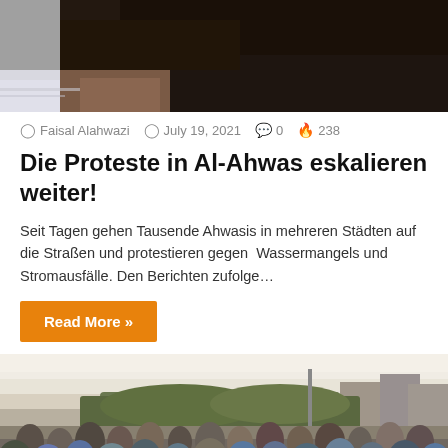[Figure (photo): Close-up photo of the back of a person's head, dark hair, partial view of a white shirt collar]
Faisal Alahwazi   July 19, 2021   0   238
Die Proteste in Al-Ahwas eskalieren weiter!
Seit Tagen gehen Tausende Ahwasis in mehreren Städten auf die Straßen und protestieren gegen  Wassermangels und Stromausfälle. Den Berichten zufolge…
Read More »
[Figure (photo): Outdoor crowd scene showing a large protest gathering of people in a city street at dusk, buildings and trees visible in the background]